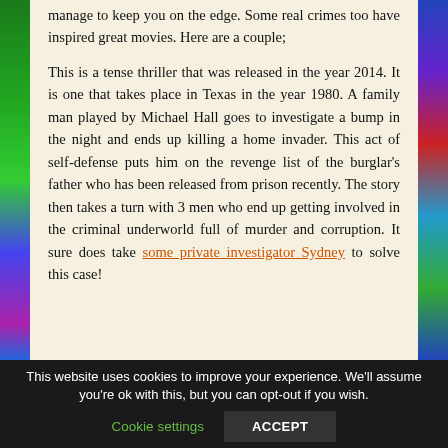manage to keep you on the edge. Some real crimes too have inspired great movies. Here are a couple;
This is a tense thriller that was released in the year 2014. It is one that takes place in Texas in the year 1980. A family man played by Michael Hall goes to investigate a bump in the night and ends up killing a home invader. This act of self-defense puts him on the revenge list of the burglar's father who has been released from prison recently. The story then takes a turn with 3 men who end up getting involved in the criminal underworld full of murder and corruption. It sure does take some private investigator Sydney to solve this case!
This website uses cookies to improve your experience. We'll assume you're ok with this, but you can opt-out if you wish.
Cookie settings
ACCEPT